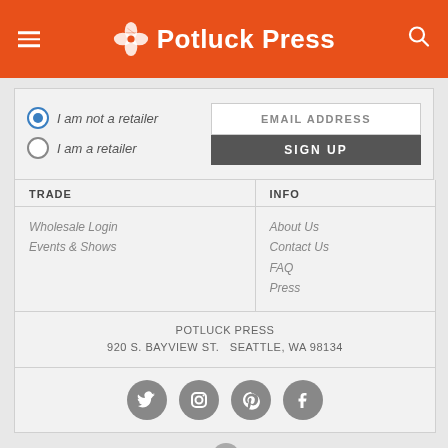Potluck Press
I am not a retailer
I am a retailer
EMAIL ADDRESS
SIGN UP
| TRADE | INFO |
| --- | --- |
| Wholesale Login
Events & Shows | About Us
Contact Us
FAQ
Press |
POTLUCK PRESS
920 S. BAYVIEW ST.   SEATTLE, WA 98134
[Figure (infographic): Social media icons: Twitter, Instagram, Pinterest, Facebook]
© 2022 POTLUCK PRESS   ALL RIGHTS RESERVED